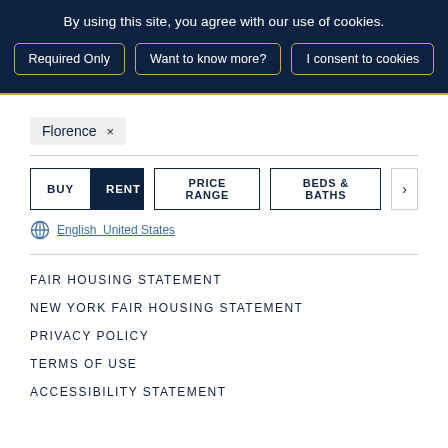By using this site, you agree with our use of cookies.
Required Only
Want to know more?
I consent to cookies
Florence ×
BUY  RENT
PRICE RANGE
BEDS & BATHS
English  United States
FAIR HOUSING STATEMENT
NEW YORK FAIR HOUSING STATEMENT
PRIVACY POLICY
TERMS OF USE
ACCESSIBILITY STATEMENT